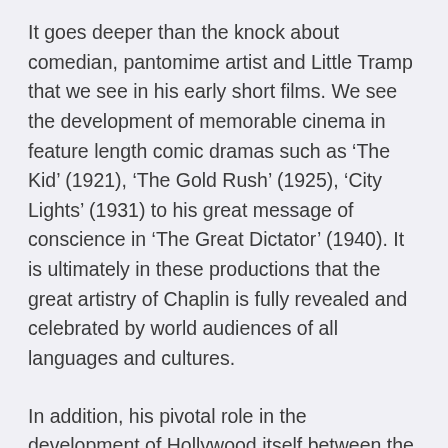It goes deeper than the knock about comedian, pantomime artist and Little Tramp that we see in his early short films. We see the development of memorable cinema in feature length comic dramas such as ‘The Kid’ (1921), ‘The Gold Rush’ (1925), ‘City Lights’ (1931) to his great message of conscience in ‘The Great Dictator’ (1940). It is ultimately in these productions that the great artistry of Chaplin is fully revealed and celebrated by world audiences of all languages and cultures.
In addition, his pivotal role in the development of Hollywood itself between the wars, from silence to sound, from black and white to colour, from small to large studios, and from personality to personality forms a fascinating background to the Chaplin era.